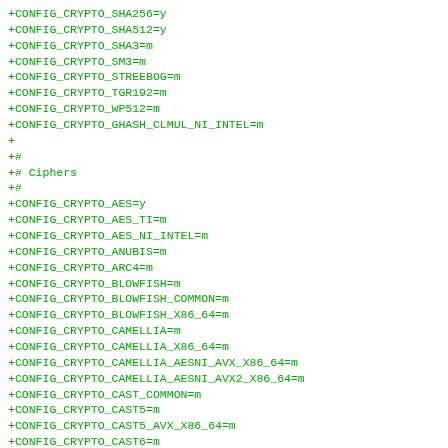+CONFIG_CRYPTO_SHA256=y
+CONFIG_CRYPTO_SHA512=y
+CONFIG_CRYPTO_SHA3=m
+CONFIG_CRYPTO_SM3=m
+CONFIG_CRYPTO_STREEBOG=m
+CONFIG_CRYPTO_TGR192=m
+CONFIG_CRYPTO_WP512=m
+CONFIG_CRYPTO_GHASH_CLMUL_NI_INTEL=m
+
+#
+# Ciphers
+#
+CONFIG_CRYPTO_AES=y
+CONFIG_CRYPTO_AES_TI=m
+CONFIG_CRYPTO_AES_NI_INTEL=m
+CONFIG_CRYPTO_ANUBIS=m
+CONFIG_CRYPTO_ARC4=m
+CONFIG_CRYPTO_BLOWFISH=m
+CONFIG_CRYPTO_BLOWFISH_COMMON=m
+CONFIG_CRYPTO_BLOWFISH_X86_64=m
+CONFIG_CRYPTO_CAMELLIA=m
+CONFIG_CRYPTO_CAMELLIA_X86_64=m
+CONFIG_CRYPTO_CAMELLIA_AESNI_AVX_X86_64=m
+CONFIG_CRYPTO_CAMELLIA_AESNI_AVX2_X86_64=m
+CONFIG_CRYPTO_CAST_COMMON=m
+CONFIG_CRYPTO_CAST5=m
+CONFIG_CRYPTO_CAST5_AVX_X86_64=m
+CONFIG_CRYPTO_CAST6=m
+CONFIG_CRYPTO_CAST6_AVX_X86_64=m
+CONFIG_CRYPTO_DES=m